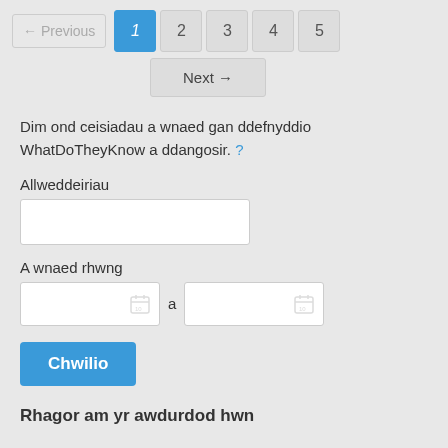← Previous  1  2  3  4  5
Next →
Dim ond ceisiadau a wnaed gan ddefnyddio WhatDoTheyKnow a ddangosir. ?
Allweddeiriau
A wnaed rhwng
Chwilio
Rhagor am yr awdurdod hwn